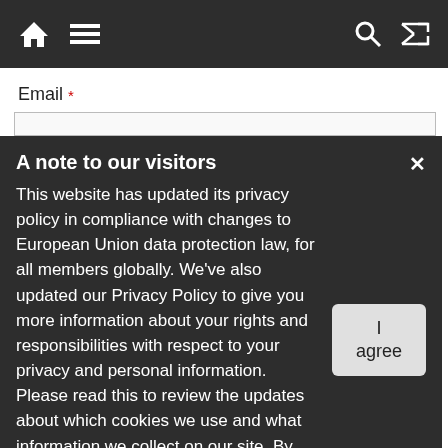Navigation bar with home, menu, search, and shuffle icons
Email *
A note to our visitors
This website has updated its privacy policy in compliance with changes to European Union data protection law, for all members globally. We’ve also updated our Privacy Policy to give you more information about your rights and responsibilities with respect to your privacy and personal information. Please read this to review the updates about which cookies we use and what information we collect on our site. By continuing to use this site, you are agreeing to our updated privacy policy.